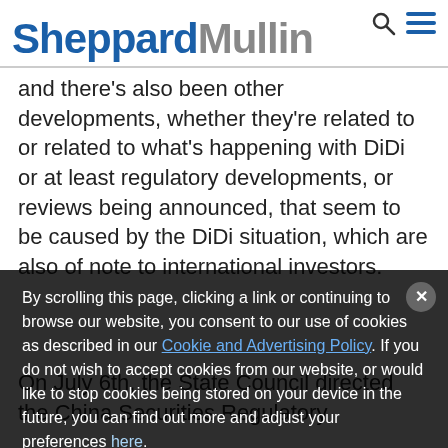SheppardMullin
and there's also been other developments, whether they're related to or related to what's happening with DiDi or at least regulatory developments, or reviews being announced, that seem to be caused by the DiDi situation, which are also of note to international investors.
On July 6th, the State Council directed the China Securities Regulatory
By scrolling this page, clicking a link or continuing to browse our website, you consent to our use of cookies as described in our Cookie and Advertising Policy. If you do not wish to accept cookies from our website, or would like to stop cookies being stored on your device in the future, you can find out more and adjust your preferences here.